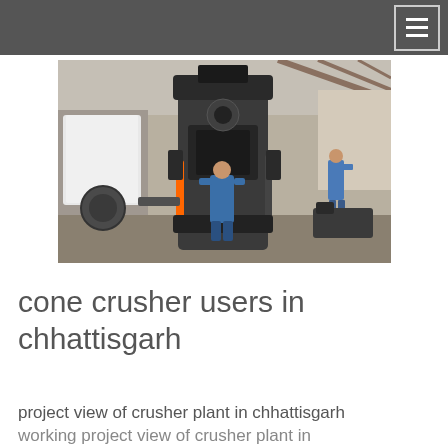[Figure (photo): Industrial cone crusher machine inside a factory/plant building. A worker in a blue jumpsuit stands close to the large dark metal machinery in the center. Another worker in blue stands in the background to the right. The machine is a large vertical cone crusher with hydraulic fittings and cables. The facility has a high ceiling with steel beams and concrete walls.]
cone crusher users in chhattisgarh
project view of crusher plant in chhattisgarh working project view of crusher plant in